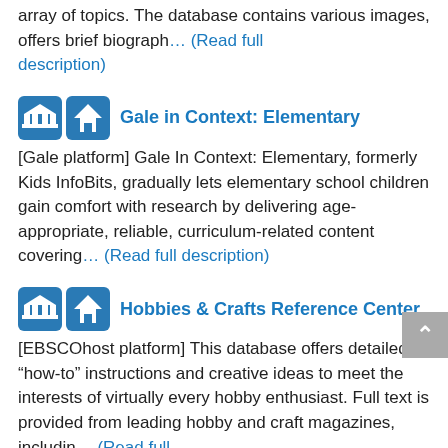array of topics. The database contains various images, offers brief biograph... (Read full description)
Gale in Context: Elementary
[Gale platform] Gale In Context: Elementary, formerly Kids InfoBits, gradually lets elementary school children gain comfort with research by delivering age-appropriate, reliable, curriculum-related content covering... (Read full description)
Hobbies & Crafts Reference Center
[EBSCOhost platform] This database offers detailed “how-to” instructions and creative ideas to meet the interests of virtually every hobby enthusiast. Full text is provided from leading hobby and craft magazines, includin... (Read full description)